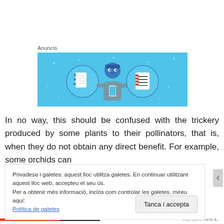Anuncis
[Figure (illustration): Advertisement banner with light blue background showing a cartoon person holding a phone, flanked by two circular icons containing a notebook and a lined document.]
In no way, this should be confused with the trickery produced by some plants to their pollinators, that is, when they do not obtain any direct benefit. For example, some orchids can
Privadesa i galetes: aquest lloc utilitza galetes. En continuar utilitzant aquest lloc web, accepteu el seu ús.
Per a obtenir més informació, inclòs com controlar les galetes, mireu aquí:
Política de galetes
Tanca i accepta